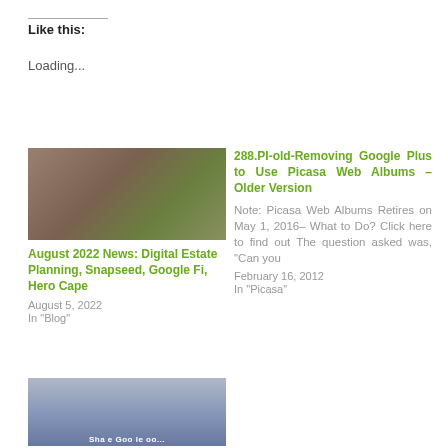Like this:
Loading...
[Figure (photo): Outdoor scene with person in floral shirt near tent or canopy, smoke visible, items on ground]
August 2022 News: Digital Estate Planning, Snapseed, Google Fi, Hero Cape
August 5, 2022
In "Blog"
[Figure (other): Article link: 288.PI-old-Removing Google Plus to Use Picasa Web Albums – Older Version. Note: Picasa Web Albums Retires on May 1, 2016– What to Do? Click here to find out The question asked was, "Can you. February 16, 2012. In "Picasa"]
[Figure (photo): Group of people including family with children, Share Google text visible at bottom]